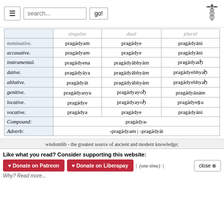Navigation bar with menu button, search field, go button, and caduceus logo
|  | singular | dual | plural |
| --- | --- | --- | --- |
| nominative. | pragādyam | pragādye | pragādyāni |
| accusative. | pragādyam | pragādye | pragādyāni |
| instrumental. | pragādyena | pragādyābhyām | pragādyaiḥ |
| dative. | pragādyāya | pragādyābhyām | pragādyebhyaḥ |
| ablative. | pragādyāt | pragādyābhyām | pragādyebhyaḥ |
| genitive. | pragādyasya | pragādyayoḥ | pragādyānām |
| locative. | pragādye | pragādyayoḥ | pragādyeṣu |
| vocative. | pragādya | pragādye | pragādyāni |
| Compound: |  | pragādya- |  |
| Adverb: |  | -pragādyam | -pragādyāt |  |
wisdomlib - the greatest source of ancient and modern knowledge;
Like what you read? Consider supporting this website:
♥ Donate on Patreon   ♥ Donate on Liberapay   | (one-time) |   close ⊗
Why? Read more...